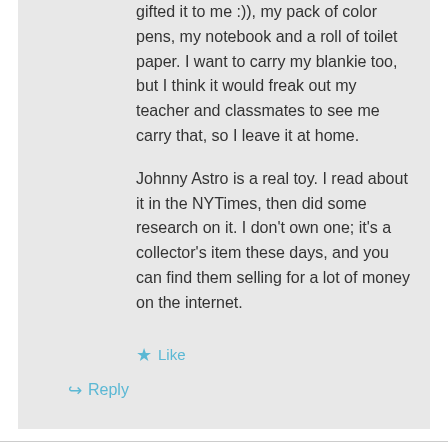gifted it to me :)), my pack of color pens, my notebook and a roll of toilet paper. I want to carry my blankie too, but I think it would freak out my teacher and classmates to see me carry that, so I leave it at home.

Johnny Astro is a real toy. I read about it in the NYTimes, then did some research on it. I don't own one; it's a collector's item these days, and you can find them selling for a lot of money on the internet.
Like
Reply
Danny on January 9, 2014 at 3:52 pm